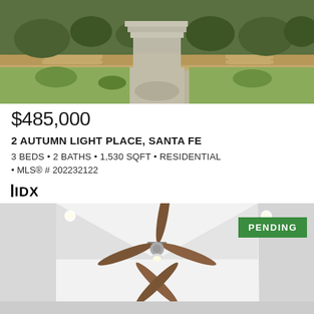[Figure (photo): Exterior photo of a home showing landscaped front yard with stone retaining wall, green bushes, concrete steps, and a concrete walkway leading to the house entrance.]
$485,000
2 AUTUMN LIGHT PLACE, SANTA FE
3 BEDS • 2 BATHS • 1,530 SQFT • RESIDENTIAL
• MLS® # 202232122
[Figure (logo): IDX logo]
[Figure (photo): Interior photo of a home showing a bright white living room with vaulted ceiling, ceiling fan with wood-tone blades, and recessed lighting. A PENDING badge appears in the upper right corner.]